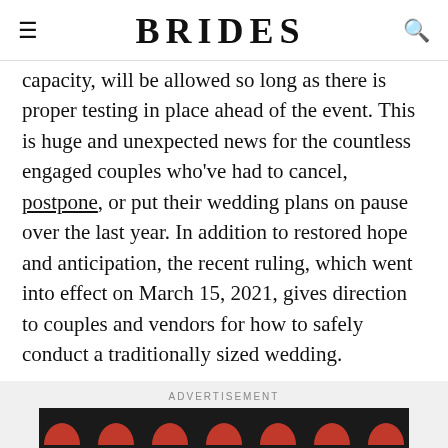BRIDES
capacity, will be allowed so long as there is proper testing in place ahead of the event. This is huge and unexpected news for the countless engaged couples who've had to cancel, postpone, or put their wedding plans on pause over the last year. In addition to restored hope and anticipation, the recent ruling, which went into effect on March 15, 2021, gives direction to couples and vendors for how to safely conduct a traditionally sized wedding.
ADVERTISEMENT
[Figure (other): Dotdash Meredith advertisement banner with dark background, red semicircle decorations, and text 'We help people find answers, solve problems and get inspired.' with Dotdash Meredith logo]